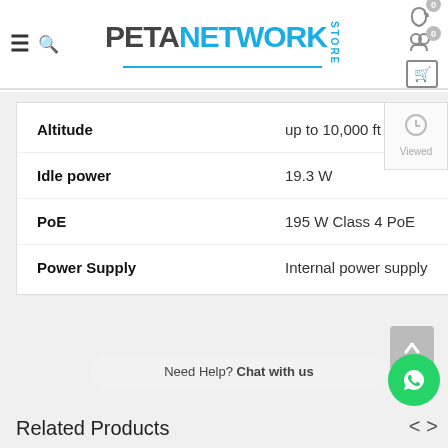PETA NETWORK STORE
| Attribute | Value |
| --- | --- |
| Altitude | up to 10,000 ft (3 km) |
| Idle power | 19.3 W |
| PoE | 195 W Class 4 PoE |
| Power Supply | Internal power supply |
Need Help? Chat with us
Related Products